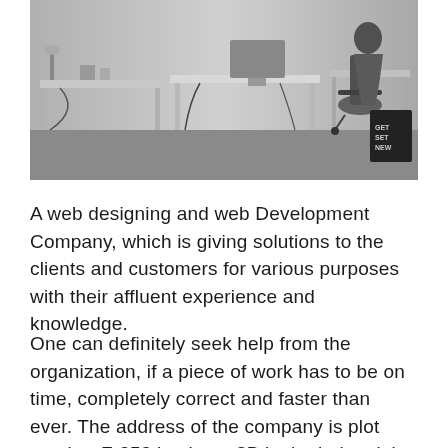[Figure (photo): Black and white photograph of an office workspace with desks, computers, cables, and a person sitting in an ergonomic chair. Various office items visible including shelving and accessories.]
A web designing and web Development Company, which is giving solutions to the clients and customers for various purposes with their affluent experience and knowledge.
One can definitely seek help from the organization, if a piece of work has to be on time, completely correct and faster than ever. The address of the company is plot number F-353 in phase 8B in the industrial area of the